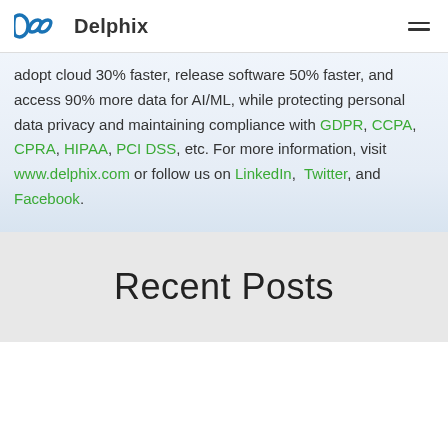Delphix
adopt cloud 30% faster, release software 50% faster, and access 90% more data for AI/ML, while protecting personal data privacy and maintaining compliance with GDPR, CCPA, CPRA, HIPAA, PCI DSS, etc. For more information, visit www.delphix.com or follow us on LinkedIn, Twitter, and Facebook.
Recent Posts